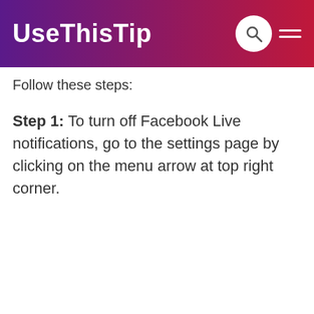UseThisTip
Follow these steps:
Step 1: To turn off Facebook Live notifications, go to the settings page by clicking on the menu arrow at top right corner.